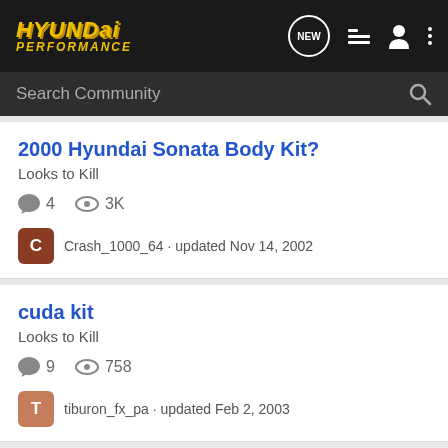Hyundai Performance
Search Community
2000 Hyundai Sonata Body Kit?
Looks to Kill
4 replies · 3K views
Crash_1000_64 · updated Nov 14, 2002
cuda kit
Looks to Kill
9 replies · 758 views
tiburon_fx_pa · updated Feb 2, 2003
Body kits